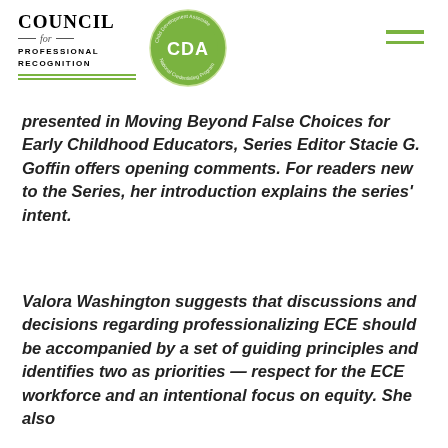Council for Professional Recognition | CDA
presented in Moving Beyond False Choices for Early Childhood Educators, Series Editor Stacie G. Goffin offers opening comments. For readers new to the Series, her introduction explains the series' intent.
Valora Washington suggests that discussions and decisions regarding professionalizing ECE should be accompanied by a set of guiding principles and identifies two as priorities — respect for the ECE workforce and an intentional focus on equity. She also